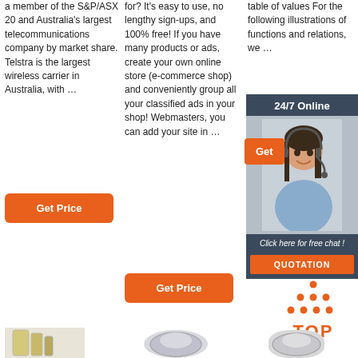a member of the S&P/ASX 20 and Australia's largest telecommunications company by market share. Telstra is the largest wireless carrier in Australia, with ...
Get Price
for? It's easy to use, no lengthy sign-ups, and 100% free! If you have many products or ads, create your own online store (e-commerce shop) and conveniently group all your classified ads in your shop! Webmasters, you can add your site in ...
Get Price
table of values For the following illustrations of functions and relations, we ...
[Figure (photo): Chat widget with woman wearing headset, 24/7 Online banner, Get button, Click here for free chat text, and QUOTATION button]
[Figure (infographic): Orange TOP icon with dots arranged in a triangle above the word TOP]